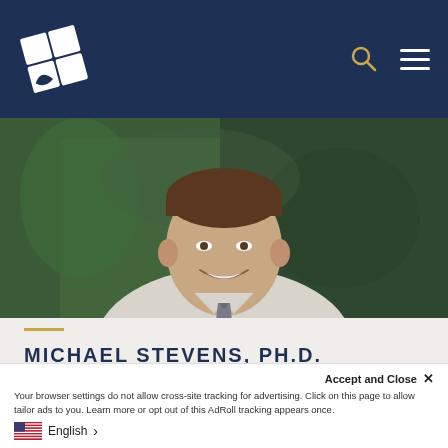[Figure (screenshot): University website navigation bar with logo, search icon, and hamburger menu on dark navy background]
[Figure (photo): Professional headshot of Michael Stevens, Ph.D., smiling man in light shirt and striped tie against dark green background]
MICHAEL STEVENS, PH.D.
PROFESSOR OF ENGLISH,
CO-DIRECTOR OF THE CREATIVITY AND INNOVATION HONORS INSTITUTE
Accept and Close ✕
Your browser settings do not allow cross-site tracking for advertising. Click on this page to allow tailor ads to you. Learn more or opt out of this AdRoll tracking appears once.
English >